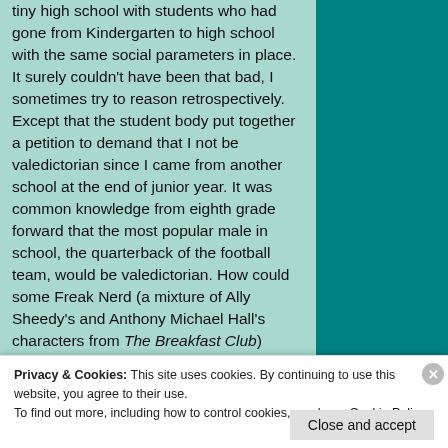tiny high school with students who had gone from Kindergarten to high school with the same social parameters in place. It surely couldn't have been that bad, I sometimes try to reason retrospectively. Except that the student body put together a petition to demand that I not be valedictorian since I came from another school at the end of junior year. It was common knowledge from eighth grade forward that the most popular male in school, the quarterback of the football team, would be valedictorian. How could some Freak Nerd (a mixture of Ally Sheedy's and Anthony Michael Hall's characters from The Breakfast Club)
Privacy & Cookies: This site uses cookies. By continuing to use this website, you agree to their use.
To find out more, including how to control cookies, see here: Cookie Policy